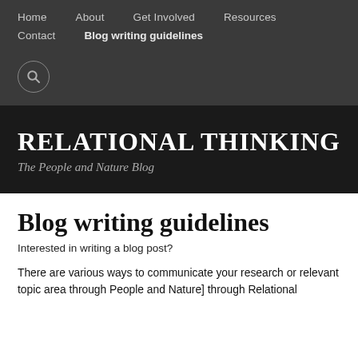Home   About   Get Involved   Resources   Contact   Blog writing guidelines
RELATIONAL THINKING
The People and Nature Blog
Blog writing guidelines
Interested in writing a blog post?
There are various ways to communicate your research or relevant topic area through People and Nature] through Relational... (continues)